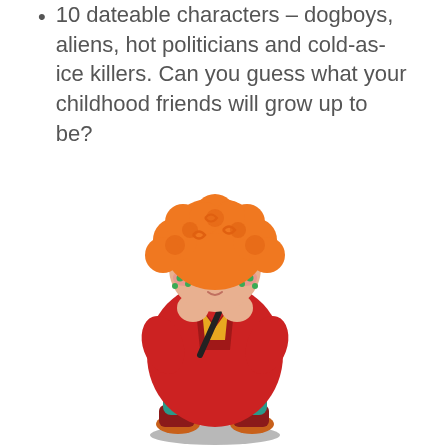10 dateable characters – dogboys, aliens, hot politicians and cold-as-ice killers. Can you guess what your childhood friends will grow up to be?
[Figure (illustration): Cartoon chibi-style character with curly orange hair, purple eyes, green freckle-like markings on cheeks, wearing a large red jacket/coat hugged around themselves, teal pants, dark red boot cuffs, and orange shoes. Standing on a small dark shadow.]